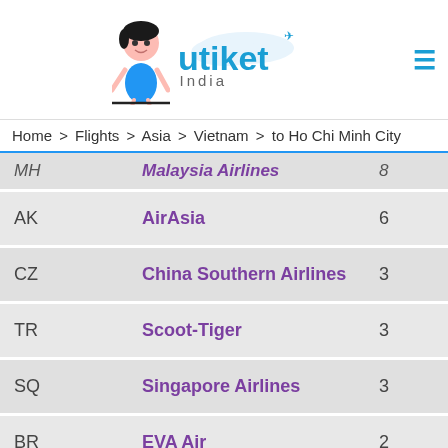Utiket India logo with mascot and hamburger menu
Home > Flights > Asia > Vietnam > to Ho Chi Minh City
| Code | Airline | Flights |
| --- | --- | --- |
| MH | Malaysia Airlines | 8 |
| AK | AirAsia | 6 |
| CZ | China Southern Airlines | 3 |
| TR | Scoot-Tiger | 3 |
| SQ | Singapore Airlines | 3 |
| BR | EVA Air | 2 |
Utiket Flight Analytics for flights to Ho Chi Minh City